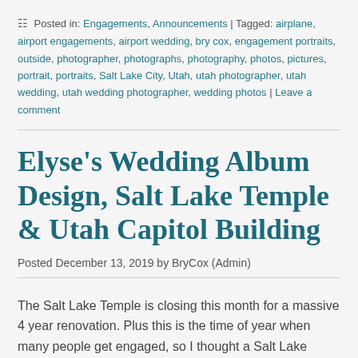Posted in: Engagements, Announcements | Tagged: airplane, airport engagements, airport wedding, bry cox, engagement portraits, outside, photographer, photographs, photography, photos, pictures, portrait, portraits, Salt Lake City, Utah, utah photographer, utah wedding, utah wedding photographer, wedding photos | Leave a comment
Elyse's Wedding Album Design, Salt Lake Temple & Utah Capitol Building
Posted December 13, 2019 by BryCox (Admin)
The Salt Lake Temple is closing this month for a massive 4 year renovation. Plus this is the time of year when many people get engaged, so I thought a Salt Lake Temple wedding would be perfect for my blog right now.